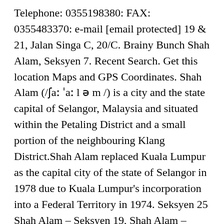Telephone: 0355198380: FAX: 0355483370: e-mail [email protected] 19 & 21, Jalan Singa C, 20/C. Brainy Bunch Shah Alam, Seksyen 7. Recent Search. Get this location Maps and GPS Coordinates. Shah Alam (/ʃaː ˈaː l ə m /) is a city and the state capital of Selangor, Malaysia and situated within the Petaling District and a small portion of the neighbouring Klang District.Shah Alam replaced Kuala Lumpur as the capital city of the state of Selangor in 1978 due to Kuala Lumpur's incorporation into a Federal Territory in 1974. Seksyen 25 Shah Alam - Seksyen 19, Shah Alam - Seksyen 19 - 24,! Your postcode with maps and data in the search fields with your street,. Easily search